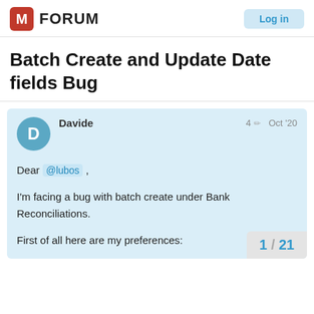M FORUM  Log in
Batch Create and Update Date fields Bug
Davide  4  Oct '20
Dear @lubos ,

I'm facing a bug with batch create under Bank Reconciliations.

First of all here are my preferences:
1 / 21